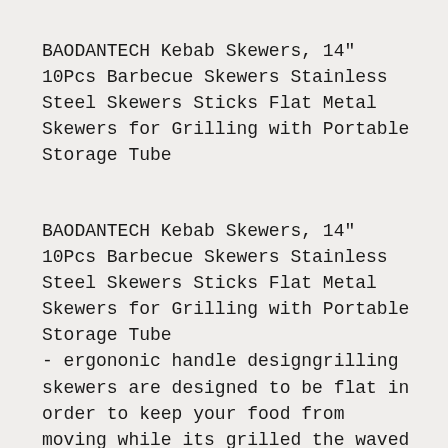BAODANTECH Kebab Skewers, 14" 10Pcs Barbecue Skewers Stainless Steel Skewers Sticks Flat Metal Skewers for Grilling with Portable Storage Tube
BAODANTECH Kebab Skewers, 14" 10Pcs Barbecue Skewers Stainless Steel Skewers Sticks Flat Metal Skewers for Grilling with Portable Storage Tube - ergononic handle designgrilling skewers are designed to be flat in order to keep your food from moving while its grilled the waved handle of the stainless steel skewers is easier to manipulate than a traditional bbq skewers. Food grade bbq skewers compared with other bbq sticks on the market, our bbq skewers are made of high quality food grade